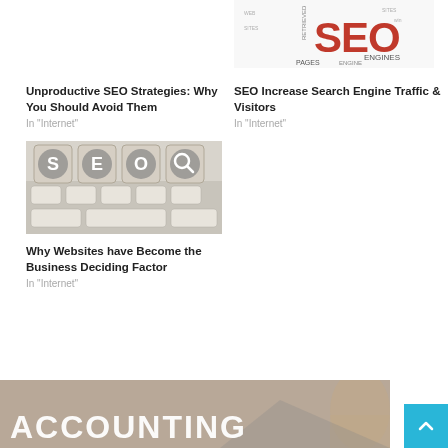[Figure (illustration): SEO word cloud image partially visible at top right]
Unproductive SEO Strategies: Why You Should Avoid Them
In "Internet"
SEO Increase Search Engine Traffic & Visitors
In "Internet"
[Figure (photo): SEO cubes with letters S, E, O and magnifying glass icon on a keyboard]
Why Websites have Become the Business Deciding Factor
In "Internet"
[Figure (photo): Partial image at bottom showing a woman and the word ACCOUNTING]